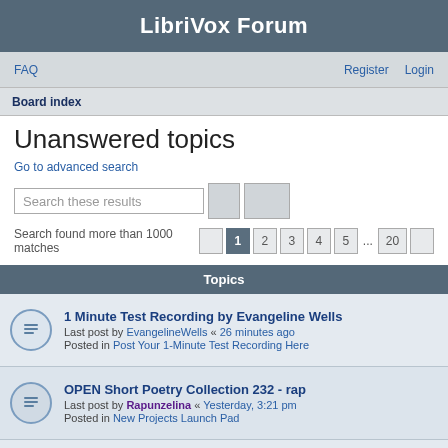LibriVox Forum
FAQ   Register   Login
Board index
Unanswered topics
Go to advanced search
Search these results
Search found more than 1000 matches   1  2  3  4  5  ...  20
Topics
1 Minute Test Recording by Evangeline Wells
Last post by EvangelineWells « 26 minutes ago
Posted in Post Your 1-Minute Test Recording Here
OPEN Short Poetry Collection 232 - rap
Last post by Rapunzelina « Yesterday, 3:21 pm
Posted in New Projects Launch Pad
Greetings Librivox Fam!!
Last post by Cymonnescott « Yesterday, 9:18 am
Posted in New Here? Introduce Yourself!
Hello